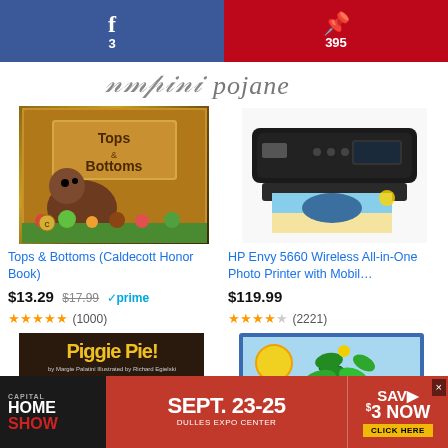[Figure (screenshot): Facebook share button with count 3]
[Figure (screenshot): Pinterest share button with count 395]
[Figure (logo): Cursive script logo text]
[Figure (photo): Book cover: Tops & Bottoms (Caldecott Honor Book)]
Tops & Bottoms (Caldecott Honor Book)
$13.29  $17.99  ✓prime
★★★★★ (1000)
[Figure (photo): HP Envy 5660 Wireless All-in-One Photo Printer product photo]
HP Envy 5660 Wireless All-in-One Photo Printer with Mobil…
$119.99
★★★★☆ (2221)
[Figure (photo): Book cover: Piggie Pie!]
Piggie…
[Figure (photo): Book cover: From Seed to Plant by Gail Gibbons]
[Figure (advertisement): Capital Home Show SEPT. 23-25 Dulles Expo Center SAV $3 NOW Click Here ad banner]